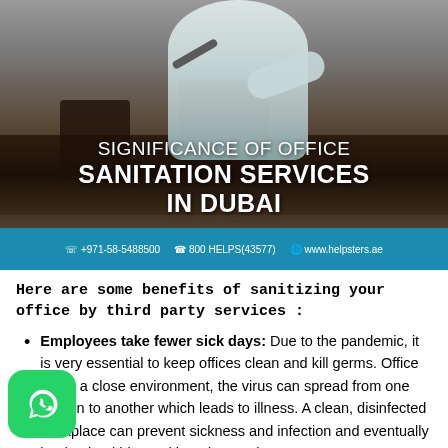[Figure (photo): Person in white protective suit and green gloves spraying/sanitizing office furniture (tables and chairs) with a spray device. Office environment with grey walls.]
SIGNIFICANCE OF OFFICE SANITATION SERVICES IN DUBAI
+971-58-5488500   800 HELPS(43577)   www.helpsters.ae
Here are some benefits of sanitizing your office by third party services :
Employees take fewer sick days: Due to the pandemic, it is very essential to keep offices clean and kill germs. Office being a close environment, the virus can spread from one person to another which leads to illness. A clean, disinfected workplace can prevent sickness and infection and eventually lead to healthier and happier employees.